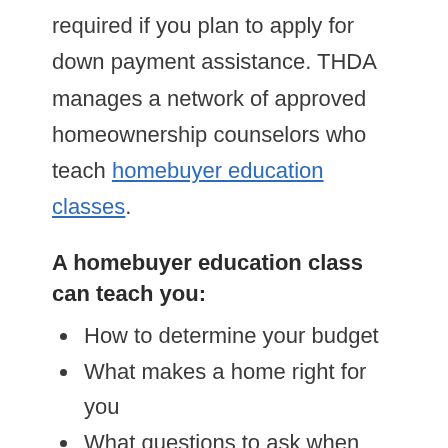required if you plan to apply for down payment assistance. THDA manages a network of approved homeownership counselors who teach homebuyer education classes.
A homebuyer education class can teach you:
How to determine your budget
What makes a home right for you
What questions to ask when looking at a home
How to qualify for a home loan
What's involved in maintaining a home